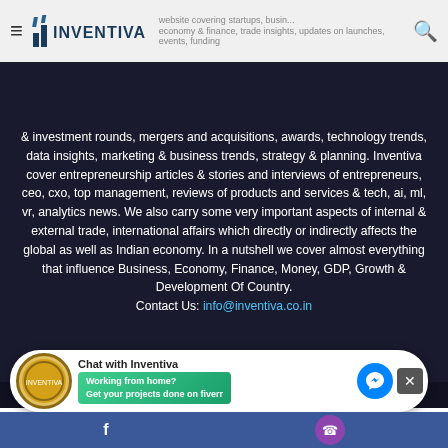Inventiva - website covering startups, business, economy & finance, trade insights, updates on launches, events, funding & investment rounds, mergers and acquisitions, awards, technology trends, data insights, marketing & business trends, strategy & planning.
& investment rounds, mergers and acquisitions, awards, technology trends, data insights, marketing & business trends, strategy & planning. Inventiva cover entrepreneurship articles & stories and interviews of entrepreneurs, ceo, cxo, top management, reviews of products and services & tech, ai, ml, vr, analytics news. We also carry some very important aspects of internal & external trade, international affairs which directly or indirectly affects the global as well as Indian economy. In a nutshell we cover almost everything that influence Business, Economy, Finance, Money, GDP, Growth & Development Of Country.
Contact Us: info@inventiva.co.in
© Inventiva 2022
[Figure (screenshot): Chat with Inventiva widget with Fiverr advertisement: Working from home? Get your projects done on fiverr]